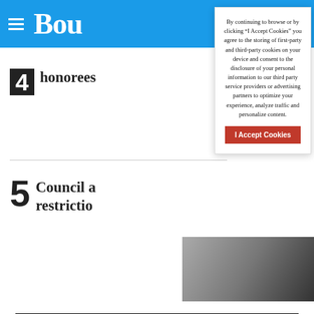Bou[lder Daily Camera] — navigation bar with hamburger menu and logo
4 honorees [partially visible]
5 Council a[pproves] restrictio[ns — partially visible]
[Figure (photo): Partially visible thumbnail photo, black and white, person or object, clipped at right edge]
By continuing to browse or by clicking “I Accept Cookies” you agree to the storing of first-party and third-party cookies on your device and consent to the disclosure of your personal information to our third party service providers or advertising partners to optimize your experience, analyze traffic and personalize content.
I Accept Cookies